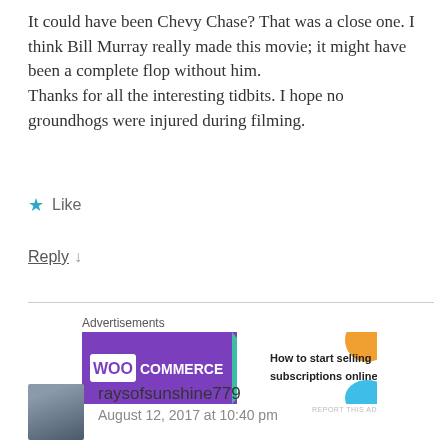It could have been Chevy Chase? That was a close one. I think Bill Murray really made this movie; it might have been a complete flop without him.
Thanks for all the interesting tidbits. I hope no groundhogs were injured during filming.
★ Like
Reply ↓
Advertisements
[Figure (other): WooCommerce advertisement banner: 'How to start selling subscriptions online']
REPORT THIS AD
raysofsunshine779
August 12, 2017 at 10:40 pm